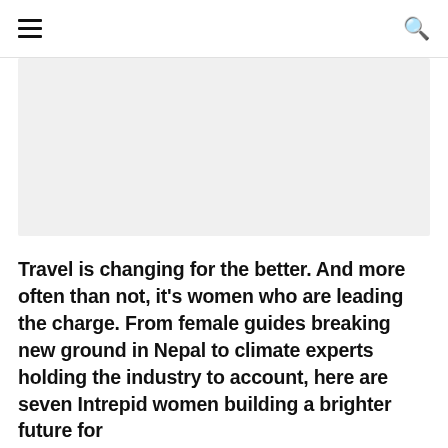≡  🔍
[Figure (photo): Large image placeholder (appears mostly white/light gray), likely a photo related to travel or women guides]
Travel is changing for the better. And more often than not, it's women who are leading the charge. From female guides breaking new ground in Nepal to climate experts holding the industry to account, here are seven Intrepid women building a brighter future for